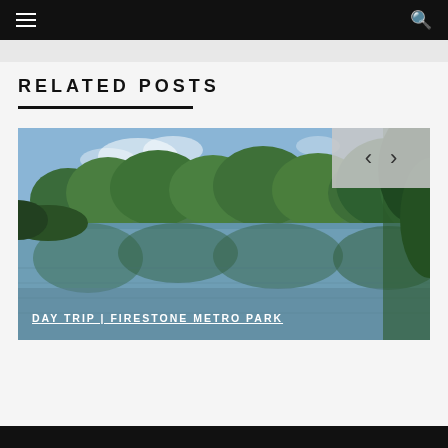Navigation bar with hamburger menu and search icon
RELATED POSTS
[Figure (photo): Outdoor park scene showing a calm lake or pond reflecting surrounding lush green trees and parkland with a stone edge visible on the left. The image includes navigation arrows (< >) in the upper-right corner overlay.]
DAY TRIP | FIRESTONE METRO PARK